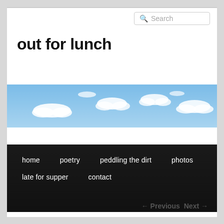Search
out for lunch
[Figure (photo): A wide banner photo of a blue sky with scattered white clouds]
home
poetry
peddling the dirt
photos
late for supper
contact
← Previous   Next →